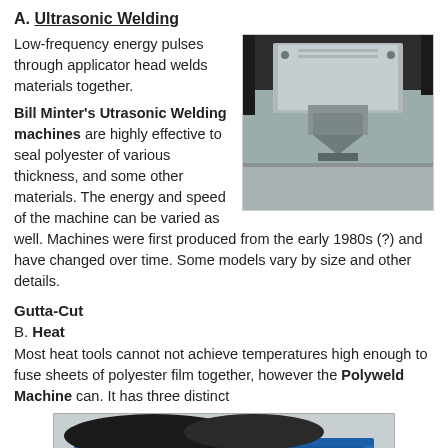A. Ultrasonic Welding
Low-frequency energy pulses through applicator head welds materials together.
[Figure (photo): Close-up photograph of an ultrasonic welding machine applicator head pressing down onto a metallic surface.]
Bill Minter's Utrasonic Welding machines are highly effective to seal polyester of various thickness, and some other materials. The energy and speed of the machine can be varied as well. Machines were first produced from the early 1980s (?) and have changed over time. Some models vary by size and other details.
Gutta-Cut
B. Heat
Most heat tools cannot not achieve temperatures high enough to fuse sheets of polyester film together, however the Polyweld Machine can. It has three distinct
[Figure (photo): Photograph of a blue Polyweld Machine with dark materials on top, partially visible at the bottom of the page.]